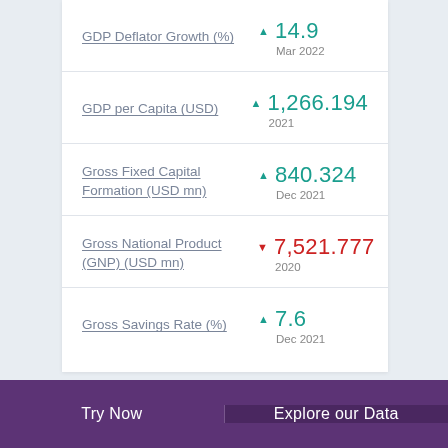GDP Deflator Growth (%) ▲ 14.9 Mar 2022
GDP per Capita (USD) ▲ 1,266.194 2021
Gross Fixed Capital Formation (USD mn) ▲ 840.324 Dec 2021
Gross National Product (GNP) (USD mn) ▼ 7,521.777 2020
Gross Savings Rate (%) ▲ 7.6 Dec 2021
Try Now   Explore our Data